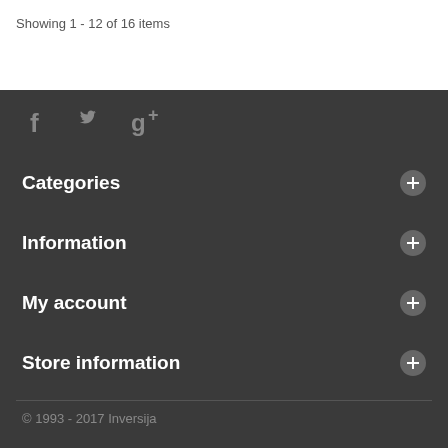Showing 1 - 12 of 16 items
[Figure (infographic): Social media icons: Facebook, Twitter, Google+]
Categories
Information
My account
Store information
© 1993 - 2017 Inversija